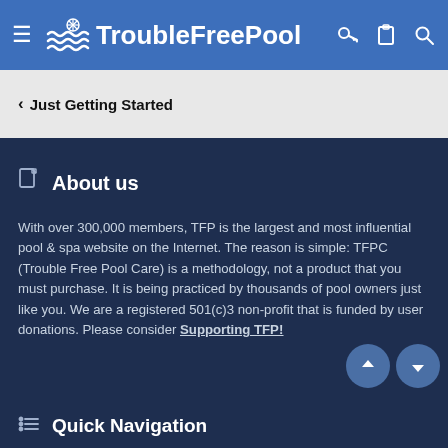TroubleFreePool
‹ Just Getting Started
About us
With over 300,000 members, TFP is the largest and most influential pool & spa website on the Internet. The reason is simple: TFPC (Trouble Free Pool Care) is a methodology, not a product that you must purchase. It is being practiced by thousands of pool owners just like you. We are a registered 501(c)3 non-profit that is funded by user donations. Please consider Supporting TFP!
Quick Navigation